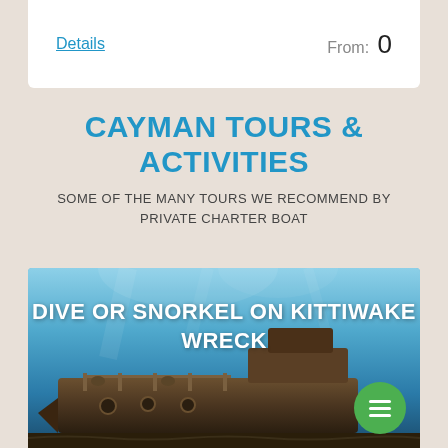Details
From: 0
CAYMAN TOURS & ACTIVITIES
SOME OF THE MANY TOURS WE RECOMMEND BY PRIVATE CHARTER BOAT
[Figure (photo): Underwater photo of the Kittiwake shipwreck with text overlay reading 'DIVE OR SNORKEL ON KITTIWAKE WRECK'. The image shows a sunken ship with blue ocean water and the rusted hull and deck of the wreck visible.]